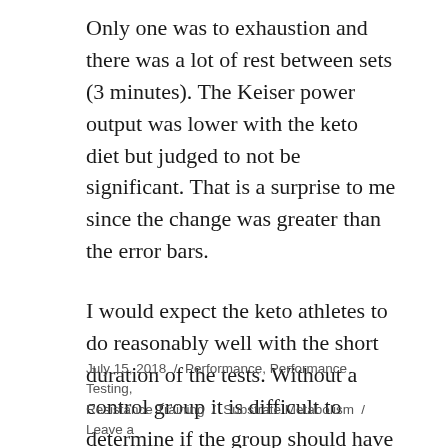Only one was to exhaustion and there was a lot of rest between sets (3 minutes). The Keiser power output was lower with the keto diet but judged to not be significant. That is a surprise to me since the change was greater than the error bars.
I would expect the keto athletes to do reasonably well with the short duration of the tests. Without a control group it is difficult to determine if the group should have gotten stronger or not.
July 15, 2018  /  Performance, Performance Testing, Resistance Training  /  Substrate Metabolism  /  Leave a